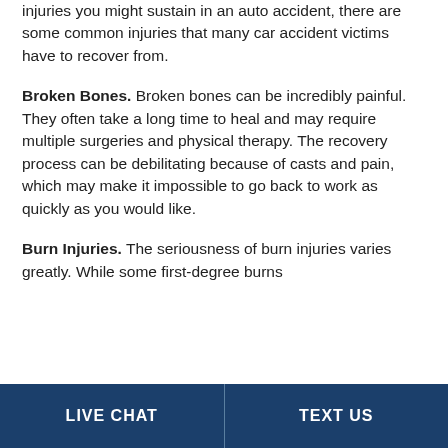injuries you might sustain in an auto accident, there are some common injuries that many car accident victims have to recover from.
Broken Bones. Broken bones can be incredibly painful. They often take a long time to heal and may require multiple surgeries and physical therapy. The recovery process can be debilitating because of casts and pain, which may make it impossible to go back to work as quickly as you would like.
Burn Injuries. The seriousness of burn injuries varies greatly. While some first-degree burns
LIVE CHAT   TEXT US